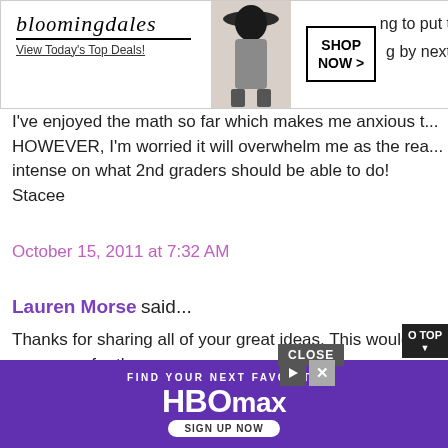[Figure (screenshot): Bloomingdale's advertisement banner with model in hat, 'View Today's Top Deals!' tagline, and 'SHOP NOW >' button]
I've enjoyed the math so far which makes me anxious t... HOWEVER, I'm worried it will overwhelm me as the rea... intense on what 2nd graders should be able to do! Stacee
October 15, 2011 at 7:32 AM
Lauren Morse said...
Thanks for sharing all of your great ideas. This would m... resources for the common core.
We had optional training this summer to start looking a... first grade team decided to "revamp" our whole math c... changes. There were a few areas that were different, b... teaching most of it before. It hasn't be... bad of a ...
[Figure (screenshot): HBO Max advertisement banner with purple background, 'FIND YOUR NEXT FAVORITE' text, HBO Max logo, and 'SIGN UP NOW' button]